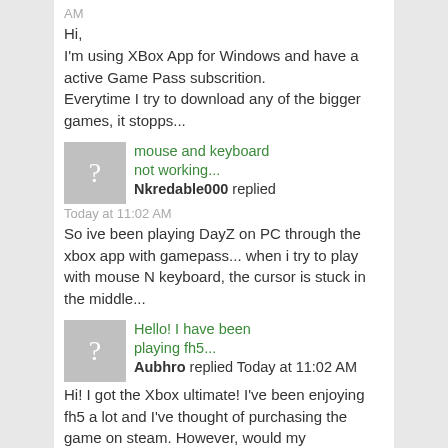AM
Hi,
I'm using XBox App for Windows and have a active Game Pass subscrition.
Everytime I try to download any of the bigger games, it stopps...
[Figure (other): User avatar placeholder with question mark]
mouse and keyboard not working...
Nkredable000 replied
Today at 11:02 AM
So ive been playing DayZ on PC through the xbox app with gamepass... when i try to play with mouse N keyboard, the cursor is stuck in the middle...
[Figure (other): User avatar placeholder with question mark]
Hello! I have been playing fh5...
Aubhro replied Today at 11:02 AM
Hi! I got the Xbox ultimate! I've been enjoying fh5 a lot and I've thought of purchasing the game on steam. However, would my